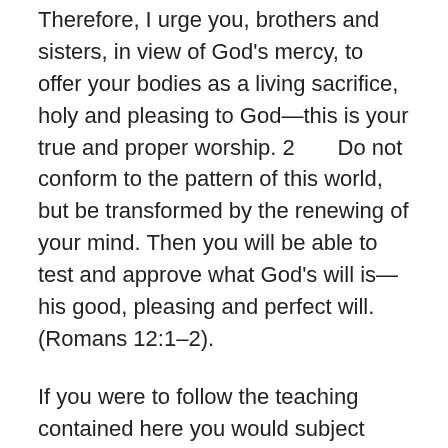Therefore, I urge you, brothers and sisters, in view of God's mercy, to offer your bodies as a living sacrifice, holy and pleasing to God—this is your true and proper worship. 2       Do not conform to the pattern of this world, but be transformed by the renewing of your mind. Then you will be able to test and approve what God's will is—his good, pleasing and perfect will.  (Romans 12:1–2).
If you were to follow the teaching contained here you would subject your policy decisions to God and you would seek his will both in prayer and by submitting yourself to God's word. Your conduct over the matter of gay marriage shows that you are not willing to do this and it saddens me deeply. The state has no right to change something that God ordained at the creation of the world and that is that marriage is between one man and one woman. You simply do not understand the feeling of opposition to this